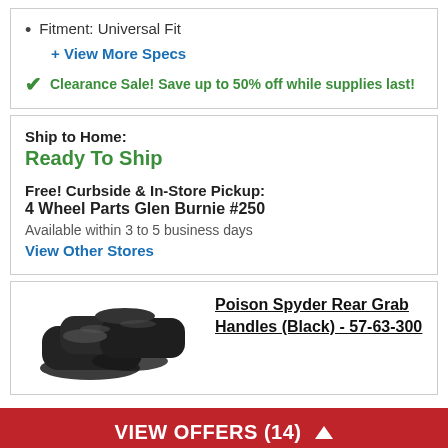Fitment: Universal Fit
+ View More Specs
Clearance Sale! Save up to 50% off while supplies last!
Ship to Home:
Ready To Ship
Free! Curbside & In-Store Pickup:
4 Wheel Parts Glen Burnie #250
Available within 3 to 5 business days
View Other Stores
Poison Spyder Rear Grab Handles (Black) - 57-63-300
VIEW OFFERS (14)